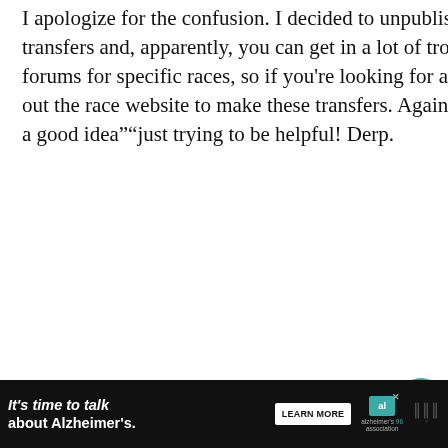I apologize for the confusion. I decided to unpublish it since a lot of races don't allow transfers and, apparently, you can get in a lot of trouble for it. A couple people mentioned forums for specific races, so if you're looking for an entry or can no longer use one, check out the race website to make these transfers. Again, sorry for the confusion! I thought it was a good idea""​just trying to be helpful! Derp.
P.S. I need a Marylou’s Peanut Butter iced coffee in a bad way. That is all.
[Figure (screenshot): What's Next overlay showing Runner's World Festiv... thumbnail with teal label arrow]
[Figure (screenshot): Advertisement bar: It's time to talk about Alzheimer's. with Learn More button and Alzheimer's Association logo]